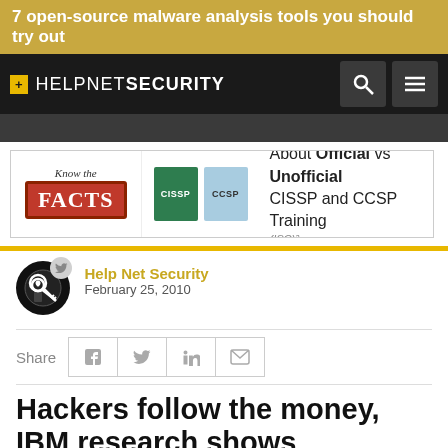7 open-source malware analysis tools you should try out
[Figure (logo): HelpNetSecurity logo with navigation icons (search and menu) on dark background]
[Figure (screenshot): Advertisement banner: Know the FACTS About Official vs Unofficial CISSP and CCSP Training (ISC)2]
[Figure (illustration): Article author icon with Twitter bird overlay, circular black key logo]
Help Net Security
February 25, 2010
Share
Hackers follow the money, IBM research shows
Existing threats such as phishing and document format vulnerabilities have continued to expand, even as users become more alert to online dangers, says IBM research. The H...